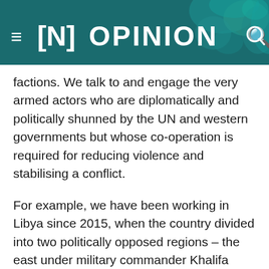≡ [N] OPINION
factions. We talk to and engage the very armed actors who are diplomatically and politically shunned by the UN and western governments but whose co-operation is required for reducing violence and stabilising a conflict.
For example, we have been working in Libya since 2015, when the country divided into two politically opposed regions – the east under military commander Khalifa Haftar and the west under the Islamist-led General National Congress (GNC) government.
As armed groups affiliated with the GNC took over Tripoli and the security situation began to